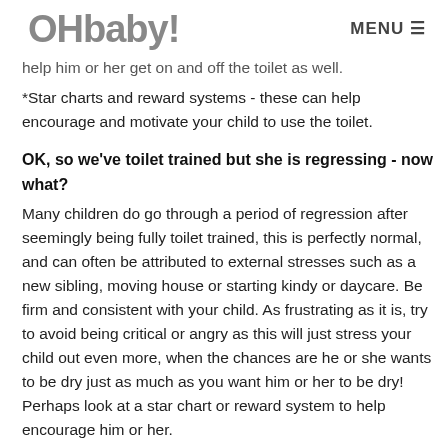OHbaby! MENU
help him or her get on and off the toilet as well.
*Star charts and reward systems - these can help encourage and motivate your child to use the toilet.
OK, so we've toilet trained but she is regressing - now what?
Many children do go through a period of regression after seemingly being fully toilet trained, this is perfectly normal, and can often be attributed to external stresses such as a new sibling, moving house or starting kindy or daycare. Be firm and consistent with your child. As frustrating as it is, try to avoid being critical or angry as this will just stress your child out even more, when the chances are he or she wants to be dry just as much as you want him or her to be dry! Perhaps look at a star chart or reward system to help encourage him or her.
When will my child be dry at night?